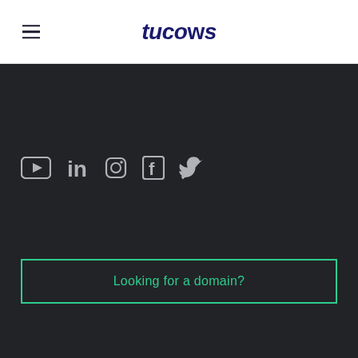tucows
[Figure (logo): Tucows logo text in dark navy italic bold font, with hamburger menu icon on the left]
[Figure (infographic): Dark background footer section with social media icons: YouTube, LinkedIn, Instagram, Facebook, Twitter]
Looking for a domain?